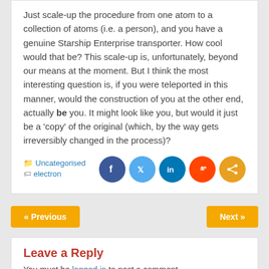Just scale-up the procedure from one atom to a collection of atoms (i.e. a person), and you have a genuine Starship Enterprise transporter. How cool would that be? This scale-up is, unfortunately, beyond our means at the moment. But I think the most interesting question is, if you were teleported in this manner, would the construction of you at the other end, actually be you. It might look like you, but would it just be a 'copy' of the original (which, by the way gets irreversibly changed in the process)?
Uncategorised
electron
[Figure (infographic): Social sharing buttons: Facebook, Twitter, LinkedIn, Reddit, Share]
« Previous
Next »
Leave a Reply
You must be logged in to post a comment.